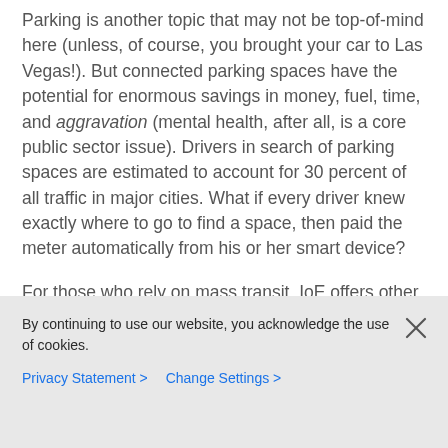Parking is another topic that may not be top-of-mind here (unless, of course, you brought your car to Las Vegas!). But connected parking spaces have the potential for enormous savings in money, fuel, time, and aggravation (mental health, after all, is a core public sector issue). Drivers in search of parking spaces are estimated to account for 30 percent of all traffic in major cities. What if every driver knew exactly where to go to find a space, then paid the meter automatically from his or her smart device?
For those who rely on mass transit, IoE offers other benefits. At CES, there were
By continuing to use our website, you acknowledge the use of cookies.
Privacy Statement > Change Settings >